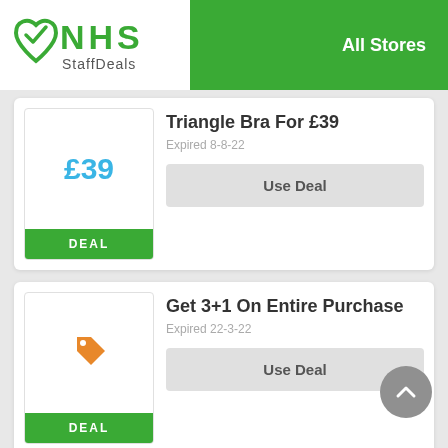NHS StaffDeals — All Stores
£39
DEAL
Triangle Bra For £39
Expired 8-8-22
Use Deal
DEAL
Get 3+1 On Entire Purchase
Expired 22-3-22
Use Deal